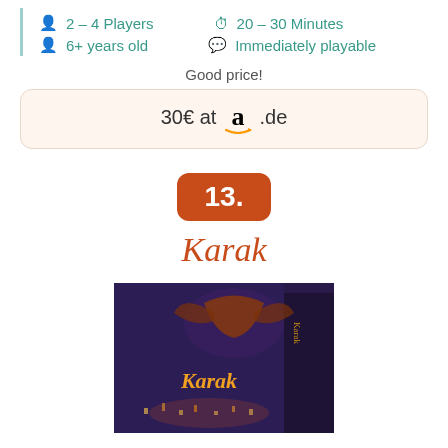2 – 4 Players
20 – 30 Minutes
6+ years old
Immediately playable
Good price!
30€ at amazon.de
13.
Karak
[Figure (photo): Box art of the board game Karak showing a fantasy dungeon scene with the word Karak in golden letters on a dark purple background with a dragon.]